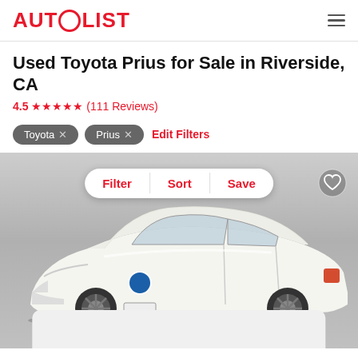AUTOLIST
Used Toyota Prius for Sale in Riverside, CA
4.5 ★★★★½ (111 Reviews)
Toyota ×
Prius ×
Edit Filters
[Figure (photo): White Toyota Prius car shown from front-right angle on grey gradient background, with Filter / Sort / Save pill button overlay and heart icon in top right corner. At the bottom is a partially visible white card.]